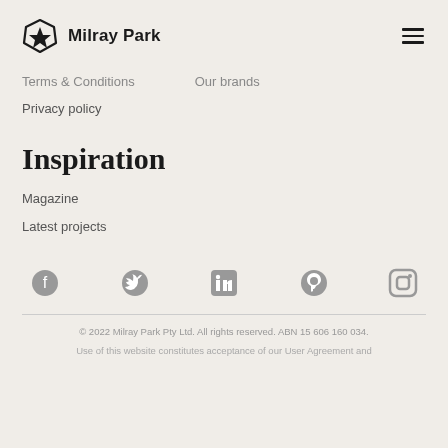Milray Park
Terms & Conditions
Our brands
Privacy policy
Inspiration
Magazine
Latest projects
[Figure (infographic): Social media icons row: Facebook, Twitter, LinkedIn, Pinterest, Instagram]
© 2022 Milray Park Pty Ltd. All rights reserved. ABN 15 606 160 034.
Use of this website constitutes acceptance of our User Agreement and